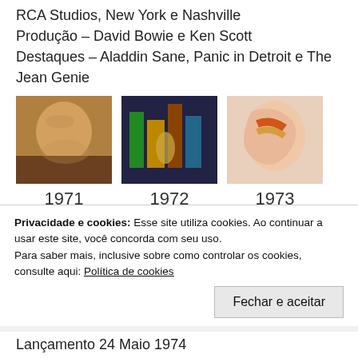RCA Studios, New York e Nashville
Produção – David Bowie e Ken Scott
Destaques – Aladdin Sane, Panic in Detroit e The Jean Genie
[Figure (photo): Three David Bowie album covers side by side: 1971, 1972, 1973, each labeled with the year below]
Pin Ups (1973)
Lançamento 19 Outubro 1973
Estúdio – Château d'Hérouville, Hérouville, França
Privacidade e cookies: Esse site utiliza cookies. Ao continuar a usar este site, você concorda com seu uso.
Para saber mais, inclusive sobre como controlar os cookies, consulte aqui: Política de cookies
Lançamento 24 Maio 1974